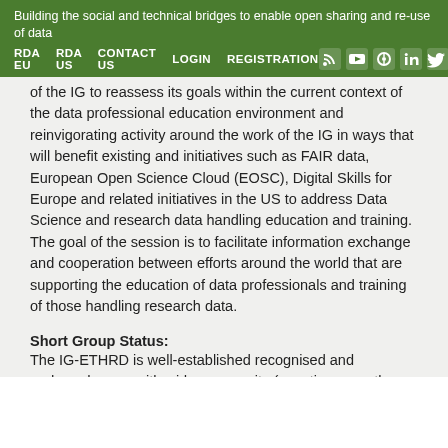Building the social and technical bridges to enable open sharing and re-use of data
RDA EU   RDA US   CONTACT US   LOGIN   REGISTRATION
of the IG to reassess its goals within the current context of the data professional education environment and reinvigorating activity around the work of the IG in ways that will benefit existing and initiatives such as FAIR data, European Open Science Cloud (EOSC), Digital Skills for Europe and related initiatives in the US to address Data Science and research data handling education and training. The goal of the session is to facilitate information exchange and cooperation between efforts around the world that are supporting the education of data professionals and training of those handling research data.
Short Group Status:
The IG-ETHRD is well-established recognised and endorsed group with wide community (counting more than 200 mailing list members)
The IG is a central venue at RDA to exchange and coordinate numerous training activities at RDA and associated European, US and worldwide projects